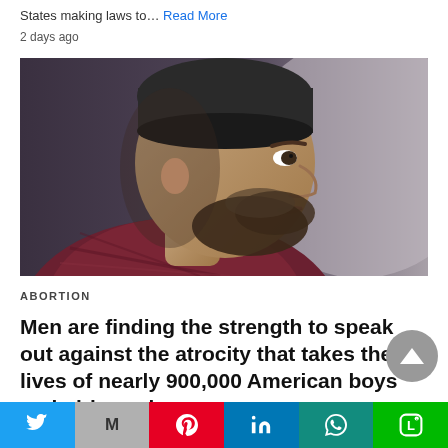States making laws to… Read More
2 days ago
[Figure (photo): Side profile of a bearded man wearing a dark beanie hat and red/maroon scarf, looking to the left against a grey background]
ABORTION
Men are finding the strength to speak out against the atrocity that takes the lives of nearly 900,000 American boys and girls each
[Figure (other): Social media share bar with Twitter, Gmail, Pinterest, LinkedIn, WhatsApp, and Line buttons]